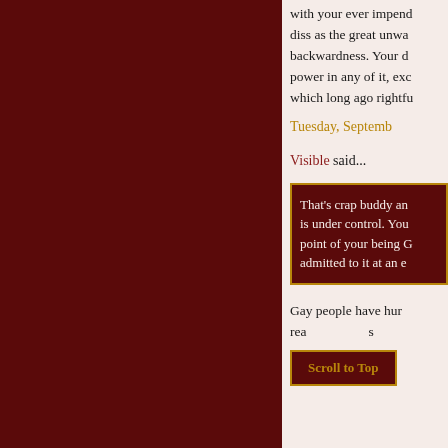with your ever impend diss as the great unwa backwardness. Your d power in any of it, exc which long ago rightfu
Tuesday, Septemb
Visible said...
That's crap buddy an is under control. You point of your being G admitted to it at an e
Gay people have hur rea s
Scroll to Top